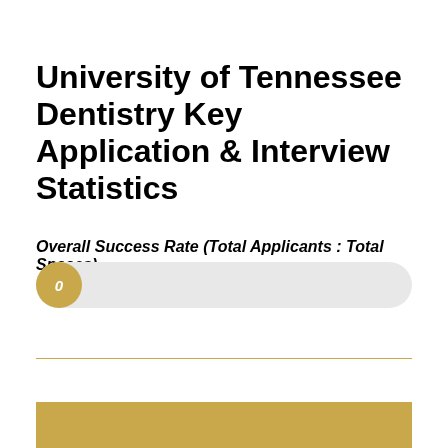University of Tennessee Dentistry Key Application & Interview Statistics
Overall Success Rate (Total Applicants : Total Spaces)
[Figure (infographic): A progress bar with a gold circle on the left showing the value 0, and a light grey elongated track extending to the right.]